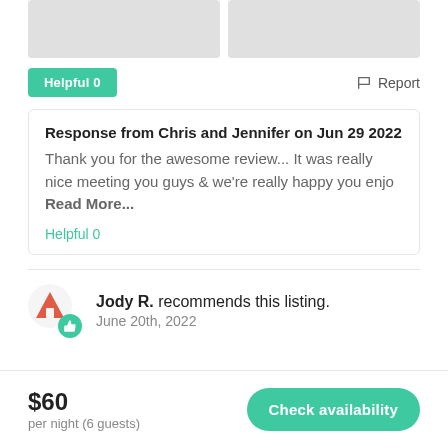[Figure (photo): Two gray placeholder image boxes at top]
Helpful 0
Report
Response from Chris and Jennifer on Jun 29 2022
Thank you for the awesome review... It was really nice meeting you guys & we're really happy you enjo Read More...
Helpful 0
Jody R. recommends this listing.
June 20th, 2022
$60
per night (6 guests)
Check availability